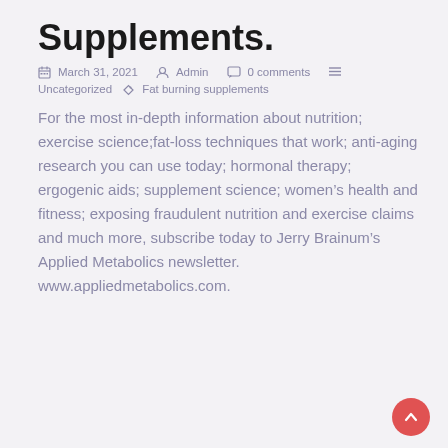Supplements.
March 31, 2021   Admin   0 comments   Uncategorized   Fat burning supplements
For the most in-depth information about nutrition; exercise science;fat-loss techniques that work; anti-aging research you can use today; hormonal therapy; ergogenic aids; supplement science; women's health and fitness; exposing fraudulent nutrition and exercise claims and much more, subscribe today to Jerry Brainum's Applied Metabolics newsletter. www.appliedmetabolics.com.